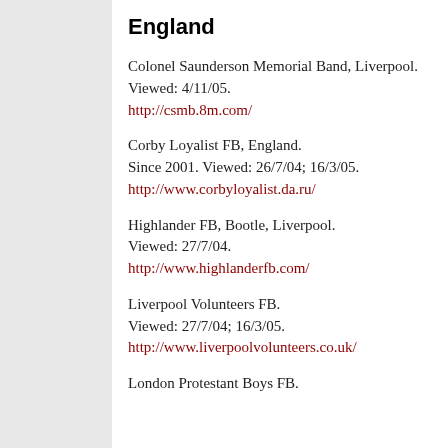England
Colonel Saunderson Memorial Band, Liverpool. Viewed: 4/11/05.
http://csmb.8m.com/
Corby Loyalist FB, England. Since 2001. Viewed: 26/7/04; 16/3/05.
http://www.corbyloyalist.da.ru/
Highlander FB, Bootle, Liverpool. Viewed: 27/7/04.
http://www.highlanderfb.com/
Liverpool Volunteers FB. Viewed: 27/7/04; 16/3/05.
http://www.liverpoolvolunteers.co.uk/
London Protestant Boys FB.